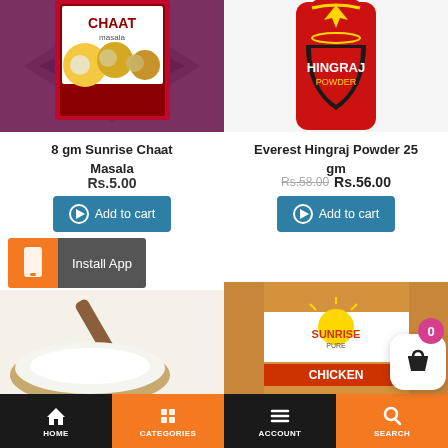[Figure (photo): Sunrise Chaat Masala product package image, top-left product]
[Figure (photo): Everest Hingraj Powder red bottle, top-right product]
8 gm Sunrise Chaat Masala
Rs.5.00
Add to cart
Everest Hingraj Powder 25 gm
Rs.58.00 Rs.56.00
Add to cart
[Figure (screenshot): Install App banner with orange phone icon and gray background]
[Figure (photo): Salt bowl with wooden scoop, partial view]
[Figure (photo): Sunrise Pure Chicken product box, partial view]
[Figure (infographic): Cart icon with badge showing 0, floating button]
HOME | CATEGORIES | ACCOUNT | SEARCH